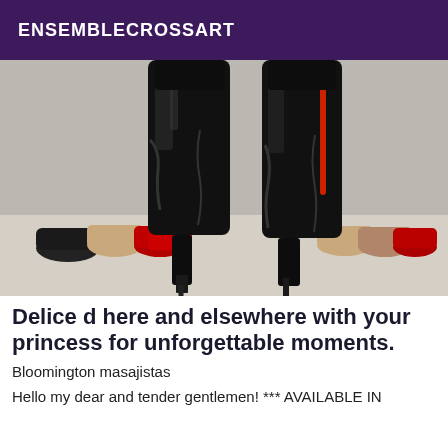ENSEMBLECROSSART
[Figure (photo): Person wearing tall black shiny thigh-high boots with stiletto heels, standing among rows of high heels shoes on both sides including red, black, and beige pairs on a light colored floor against a gray wall.]
Delice d here and elsewhere with your princess for unforgettable moments.
Bloomington masajistas
Hello my dear and tender gentlemen! *** AVAILABLE IN